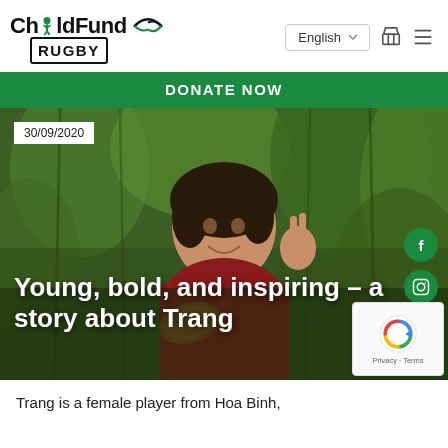ChildFund Rugby — English language selector, cart icon, hamburger menu
DONATE NOW
[Figure (photo): A young smiling girl making a peace sign with her fingers, wearing a red shirt and holding a rugby ball, with lush green vegetation in the background. Date badge reads 30/09/2020.]
Young, bold, and inspiring – a story about Trang
Trang is a female player from Hoa Binh,